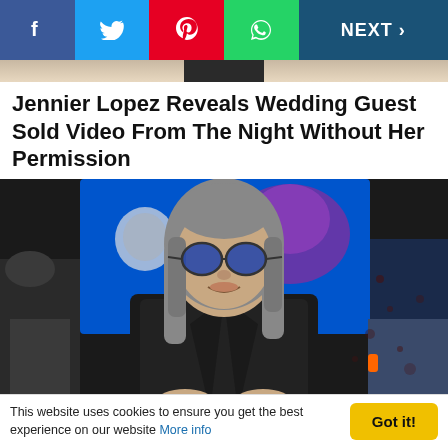Social share bar with Facebook, Twitter, Pinterest, WhatsApp buttons and NEXT > navigation
Jennier Lopez Reveals Wedding Guest Sold Video From The Night Without Her Permission
[Figure (photo): A man with long gray hair wearing round blue-tinted sunglasses and a black jacket, seated in front of a screen showing colorful animated art. Two other people are partially visible on either side.]
This website uses cookies to ensure you get the best experience on our website More info